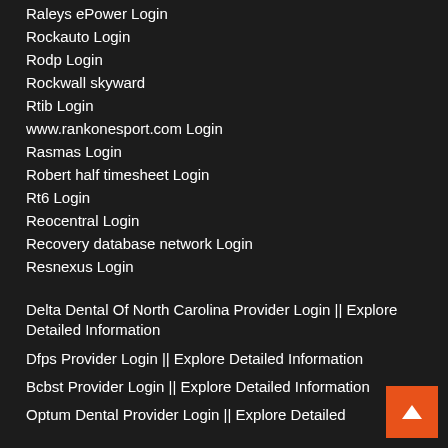Raleys ePower Login
Rockauto Login
Rodp Login
Rockwall skyward
Rtib Login
www.rankonesport.com Login
Rasmas Login
Robert half timesheet Login
Rt6 Login
Reocentral Login
Recovery database network Login
Resnexus Login
Delta Dental Of North Carolina Provider Login || Explore Detailed Information
Dfps Provider Login || Explore Detailed Information
Bcbst Provider Login || Explore Detailed Information
Optum Dental Provider Login || Explore Detailed